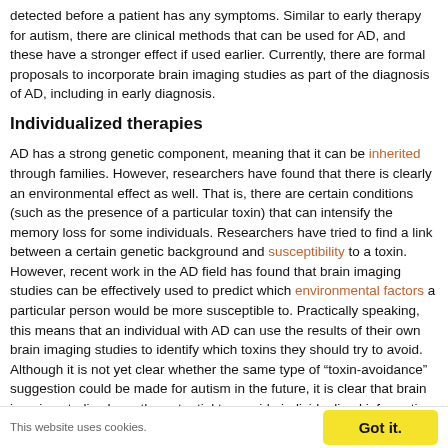detected before a patient has any symptoms. Similar to early therapy for autism, there are clinical methods that can be used for AD, and these have a stronger effect if used earlier. Currently, there are formal proposals to incorporate brain imaging studies as part of the diagnosis of AD, including in early diagnosis.
Individualized therapies
AD has a strong genetic component, meaning that it can be inherited through families. However, researchers have found that there is clearly an environmental effect as well. That is, there are certain conditions (such as the presence of a particular toxin) that can intensify the memory loss for some individuals. Researchers have tried to find a link between a certain genetic background and susceptibility to a toxin. However, recent work in the AD field has found that brain imaging studies can be effectively used to predict which environmental factors a particular person would be more susceptible to. Practically speaking, this means that an individual with AD can use the results of their own brain imaging studies to identify which toxins they should try to avoid. Although it is not yet clear whether the same type of “toxin-avoidance” suggestion could be made for autism in the future, it is clear that brain imaging studies have the potential to provide individualized information to a patient.
This website uses cookies.
Got it.